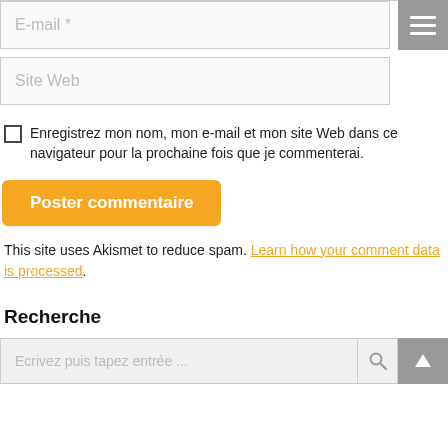E-mail *
Site Web
Enregistrez mon nom, mon e-mail et mon site Web dans ce navigateur pour la prochaine fois que je commenterai.
Poster commentaire
This site uses Akismet to reduce spam. Learn how your comment data is processed.
Recherche
Ecrivez puis tapez entrée ...